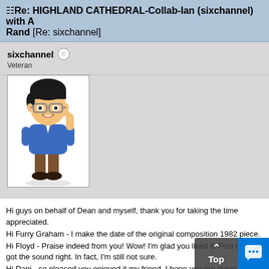Re: HIGHLAND CATHEDRAL-Collab-Ian (sixchannel) with A... Rand [Re: sixchannel]
sixchannel
Veteran
[Figure (illustration): Cartoon avatar of a person with glasses, dark hair, wearing a blue shirt and brown trousers, giving a thumbs up]
Hi guys on behalf of Dean and myself, thank you for taking the time appreciated.
Hi Furry Graham - I make the date of the original composition 1982 piece.
Hi Floyd - Praise indeed from you! Wow! I'm glad you liked it. First ti if I'd got the sound right. In fact, I'm still not sure.
Hi Dani - so pleased you enjoyed it my friend. I hope you are doing h